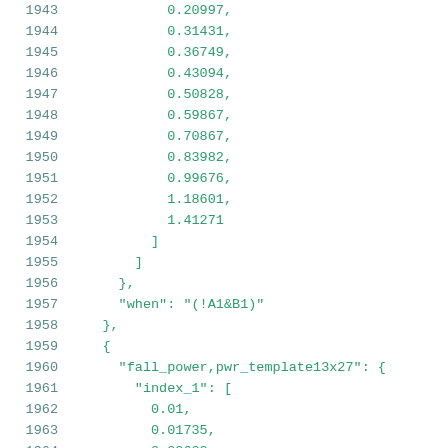Code listing lines 1943-1964 showing JSON/array data with numeric values and structure including fall_power,pwr_template13x27 block